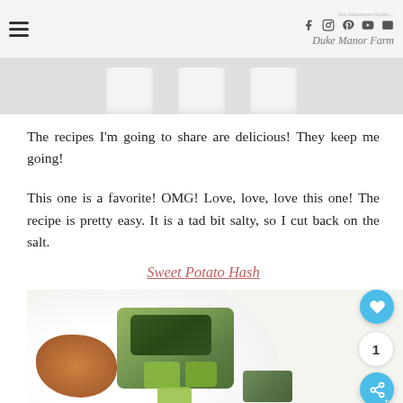Duke Manor Farm
[Figure (photo): Partial top image showing white cups/dishes arranged in a row on a light background]
The recipes I'm going to share are delicious! They keep me going!
This one is a favorite! OMG! Love, love, love this one! The recipe is pretty easy. It is a tad bit salty, so I cut back on the salt.
Sweet Potato Hash
[Figure (photo): A white plate with sweet potato hash, a green vegetable frittata or egg dish with dark herb topping, and sliced avocado cubes]